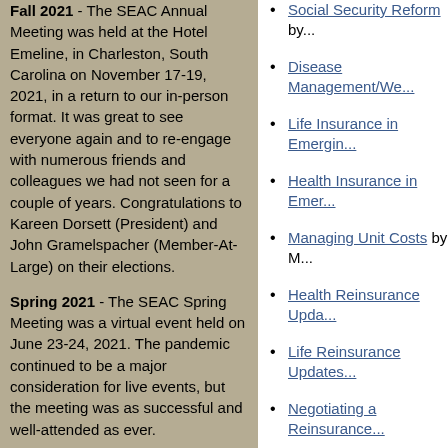Fall 2021 - The SEAC Annual Meeting was held at the Hotel Emeline, in Charleston, South Carolina on November 17-19, 2021, in a return to our in-person format. It was great to see everyone again and to re-engage with numerous friends and colleagues we had not seen for a couple of years.  Congratulations to Kareen Dorsett (President) and John Gramelspacher (Member-At-Large) on their elections.
Spring 2021 - The SEAC Spring Meeting was a virtual event held on June 23-24, 2021. The pandemic continued to be a major consideration for live events, but the meeting was as successful and well-attended as ever.
Fall 2020 - The SEAC Annual Meeting was a virtual event held jointly with the ACSW on November 18-19, 2020.
Social Security Reform by...
Disease Management/We...
Life Insurance in Emergin...
Health Insurance in Emer...
Managing Unit Costs by M...
Health Reinsurance Upda...
Life Reinsurance Updates...
Negotiating a Reinsurance...
Health Concurrent Session
Medicare Modernization A...
Prescription Drug Trends/...